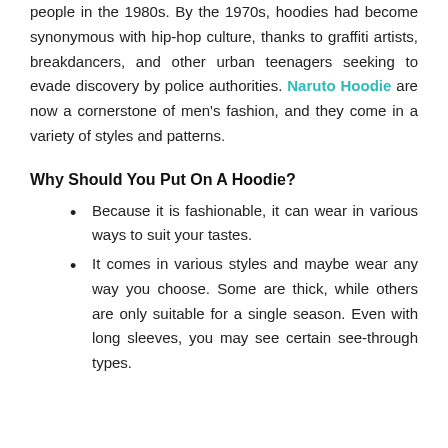people in the 1980s. By the 1970s, hoodies had become synonymous with hip-hop culture, thanks to graffiti artists, breakdancers, and other urban teenagers seeking to evade discovery by police authorities. Naruto Hoodie are now a cornerstone of men's fashion, and they come in a variety of styles and patterns.
Why Should You Put On A Hoodie?
Because it is fashionable, it can wear in various ways to suit your tastes.
It comes in various styles and maybe wear any way you choose. Some are thick, while others are only suitable for a single season. Even with long sleeves, you may see certain see-through types.